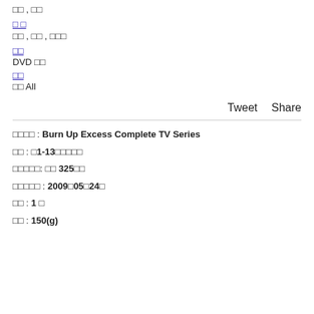□□ , □□
□ □
□□ , □□ , □□□
□□
DVD □□
□□
□□ All
Tweet   Share
□□□□ : Burn Up Excess Complete TV Series
□□ : □1-13□□□□□
□□□□□: □□ 325□□
□□□□□ : 2009□05□24□
□□ : 1 □
□□ : 150(g)